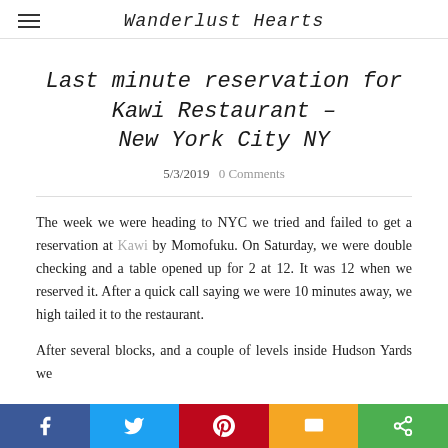Wanderlust Hearts
Last minute reservation for Kawi Restaurant – New York City NY
5/3/2019  0 Comments
The week we were heading to NYC we tried and failed to get a reservation at Kawi by Momofuku. On Saturday, we were double checking and a table opened up for 2 at 12. It was 12 when we reserved it. After a quick call saying we were 10 minutes away, we high tailed it to the restaurant.
After several blocks, and a couple of levels inside Hudson Yards we